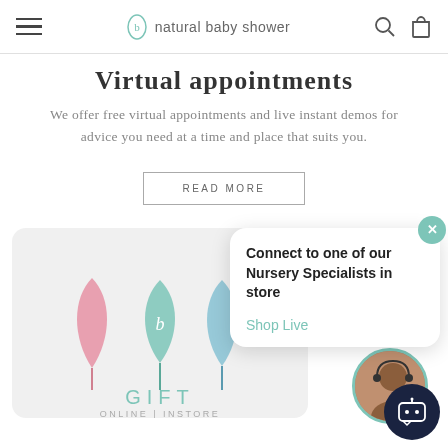natural baby shower
Virtual appointments
We offer free virtual appointments and live instant demos for advice you need at a time and place that suits you.
READ MORE
[Figure (screenshot): Gift card image with pink and green leaf icons, text reading GIFT ONLINE | INSTORE]
Connect to one of our Nursery Specialists in store
Shop Live